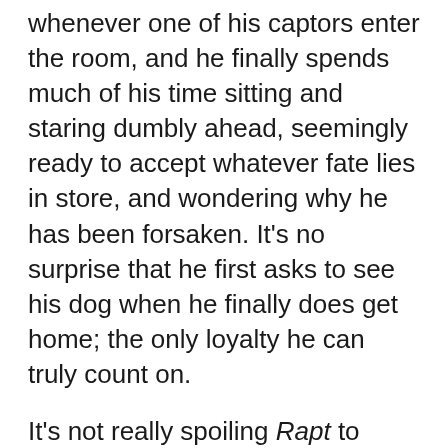whenever one of his captors enter the room, and he finally spends much of his time sitting and staring dumbly ahead, seemingly ready to accept whatever fate lies in store, and wondering why he has been forsaken. It's no surprise that he first asks to see his dog when he finally does get home; the only loyalty he can truly count on.
It's not really spoiling Rapt to reveal that Graff does eventually return home. The plot is not the key thing here, as Belvaux seems much more interested in observing human nature, and seeing how these characters react when placed in these extreme situations. While Belvaux stages a couple of tense and gripping sequences, Rapt is ultimately more of a